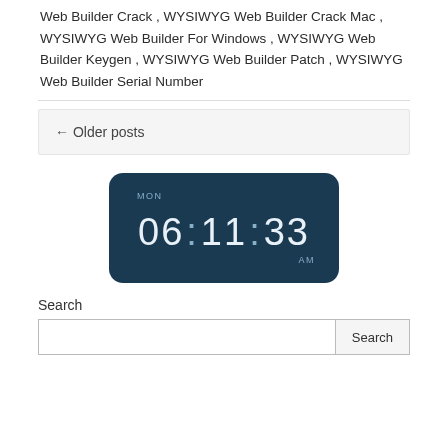Web Builder Crack , WYSIWYG Web Builder Crack Mac , WYSIWYG Web Builder For Windows , WYSIWYG Web Builder Keygen , WYSIWYG Web Builder Patch , WYSIWYG Web Builder Serial Number
← Older posts
[Figure (other): A digital clock widget showing MON 06:11:33 AM on a dark navy background with rounded corners.]
Search
Search input field with Search button